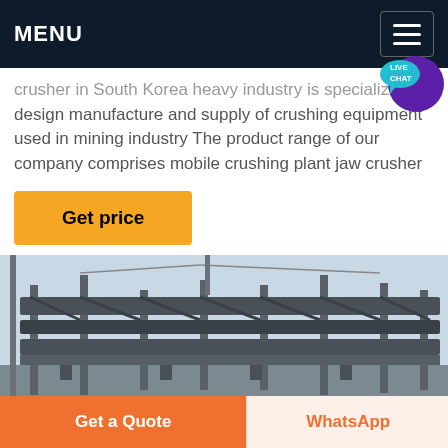MENU
crusher in South Korea heavy industry is specialized in design manufacture and supply of crushing equipment used in mining industry The product range of our company comprises mobile crushing plant jaw crusher
Get price
[Figure (photo): Industrial crushing/conveyor equipment machinery photographed outdoors against a light sky background.]
Get a Quote
WhatsApp